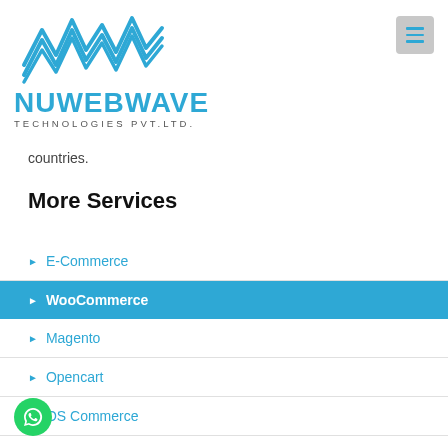[Figure (logo): NuWebWave Technologies Pvt. Ltd. logo with blue lightning bolt wave graphic above text]
countries.
More Services
E-Commerce
WooCommerce
Magento
Opencart
OS Commerce